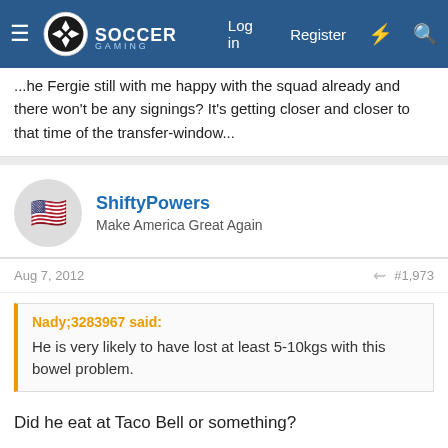Soccer Gaming forum navigation bar with logo, Log in, Register links
...he Fergie still with me happy with the squad already and there won't be any signings? It's getting closer and closer to that time of the transfer-window...
ShiftyPowers - Make America Great Again
Aug 7, 2012  #1,973
Nady;3283967 said:
He is very likely to have lost at least 5-10kgs with this bowel problem.
Did he eat at Taco Bell or something?
Pogba4Now - Team Captain